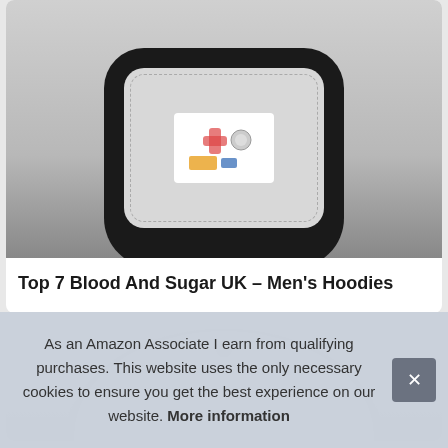[Figure (photo): Product image of a black lunch bag/case with a white interior panel showing medical items illustration, displayed on a gray background]
Top 7 Blood And Sugar UK – Men's Hoodies
[Figure (photo): White baseball cap product image, partially visible, shown from above on light background]
As an Amazon Associate I earn from qualifying purchases. This website uses the only necessary cookies to ensure you get the best experience on our website. More information